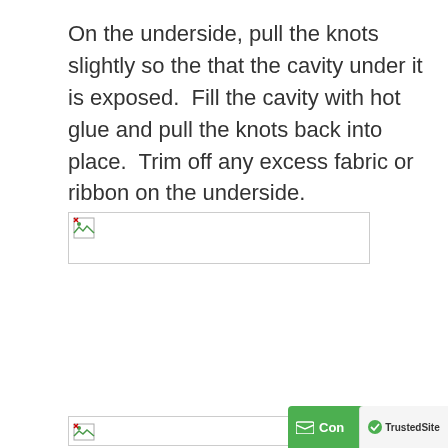On the underside, pull the knots slightly so the that the cavity under it is exposed.  Fill the cavity with hot glue and pull the knots back into place.  Trim off any excess fabric or ribbon on the underside.
[Figure (photo): Broken image placeholder (image failed to load) — wide rectangular broken image icon]
[Figure (photo): Broken image placeholder (image failed to load) — wide rectangular broken image icon at bottom]